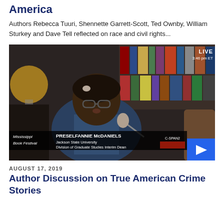America
Authors Rebecca Tuuri, Shennette Garrett-Scott, Ted Ownby, William Sturkey and Dave Tell reflected on race and civil rights...
[Figure (screenshot): C-SPAN2 video screenshot showing PRESELFANNIE McDANIELS, Jackson State University Division of Graduate Studies Interim Dean, speaking at the Mississippi Book Festival. A 'LIVE 3:46 pm ET' badge appears in the upper right. A blue play button appears in the lower right corner.]
AUGUST 17, 2019
Author Discussion on True American Crime Stories